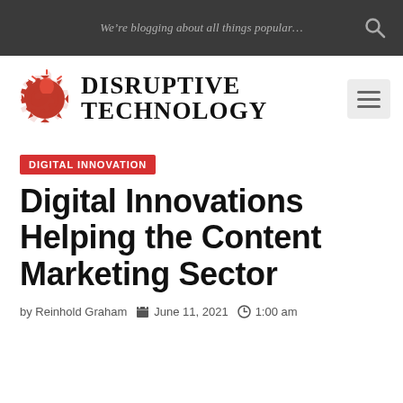We're blogging about all things popular...
[Figure (logo): Disruptive Technology blog logo with red gear/lightbulb icon and bold serif text reading DISRUPTIVE TECHNOLOGY]
DIGITAL INNOVATION
Digital Innovations Helping the Content Marketing Sector
by Reinhold Graham   June 11, 2021   1:00 am